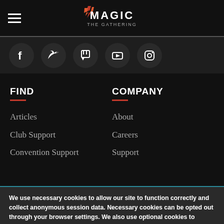Magic: The Gathering — site header with hamburger menu and logo
[Figure (screenshot): Social media icons row: Facebook, Twitter, Twitch, YouTube, Instagram]
FIND
Articles
Club Support
Convention Support
COMPANY
About
Careers
Support
We use necessary cookies to allow our site to function correctly and collect anonymous session data. Necessary cookies can be opted out through your browser settings. We also use optional cookies to personalize content and ads, provide social medial features and analyze web traffic. By clicking “OK, I agree,” you consent to optional cookies. (Learn more about cookies.)
OK, I agree   No, thanks